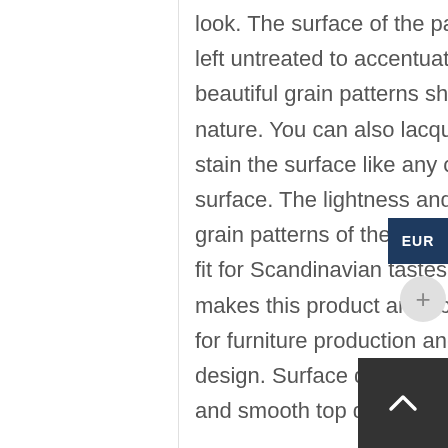look. The surface of the panel can be left untreated to accentuate the beautiful grain patterns shaped by nature. You can also lacquer, wax or stain the surface like any other wood surface. The lightness and natural grain patterns of the birch are a perfect fit for Scandinavian tastes, which makes this product an excellent choice for furniture production and interior design. Surface quality AB/B, prime and smooth top quality.